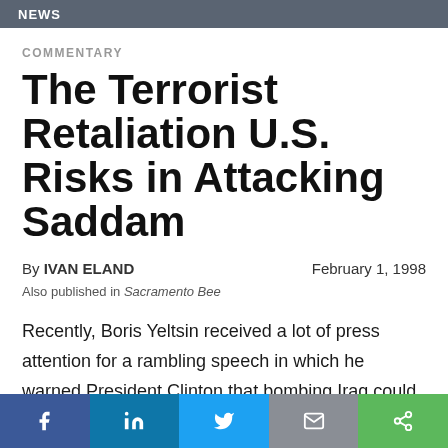NEWS
COMMENTARY
The Terrorist Retaliation U.S. Risks in Attacking Saddam
By IVAN ELAND   February 1, 1998
Also published in Sacramento Bee
Recently, Boris Yeltsin received a lot of press attention for a rambling speech in which he warned President Clinton that bombing Iraq could mean a world war. Of course, the press focused on that provocative language, from which Yeltsin